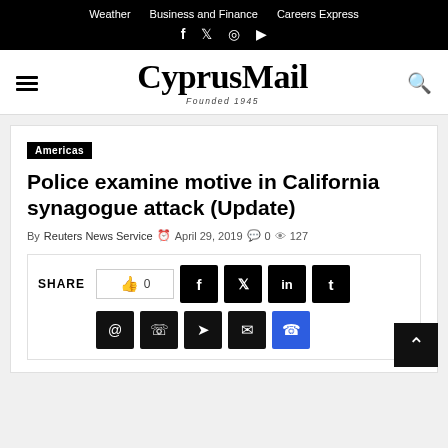Weather  Business and Finance  Careers Express
[Figure (logo): CyprusMail logo with 'Founded 1945' tagline, hamburger menu icon on left, search icon on right]
Americas
Police examine motive in California synagogue attack (Update)
By Reuters News Service  April 29, 2019  0  127
[Figure (infographic): Share buttons row: like/thumbs-up with 0, Facebook, Twitter, LinkedIn, Tumblr, Reddit, WhatsApp, Telegram, Email, Viber]